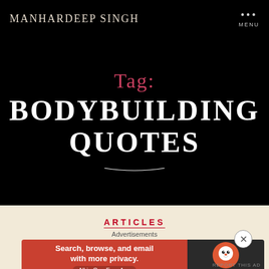MANHARDEEP SINGH
TAG: BODYBUILDING QUOTES
ARTICLES
Advertisements
[Figure (screenshot): DuckDuckGo advertisement banner: orange left panel with text 'Search, browse, and email with more privacy. All in One Free App' and dark right panel with DuckDuckGo logo.]